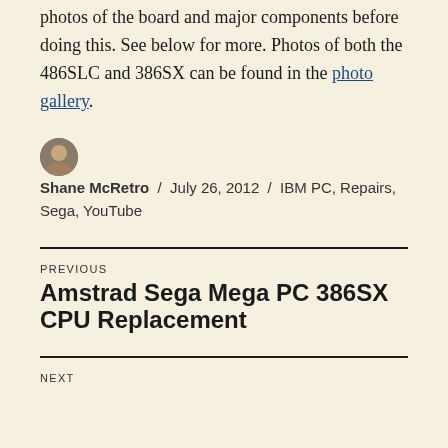photos of the board and major components before doing this. See below for more. Photos of both the 486SLC and 386SX can be found in the photo gallery.
Shane McRetro / July 26, 2012 / IBM PC, Repairs, Sega, YouTube
PREVIOUS
Amstrad Sega Mega PC 386SX CPU Replacement
NEXT